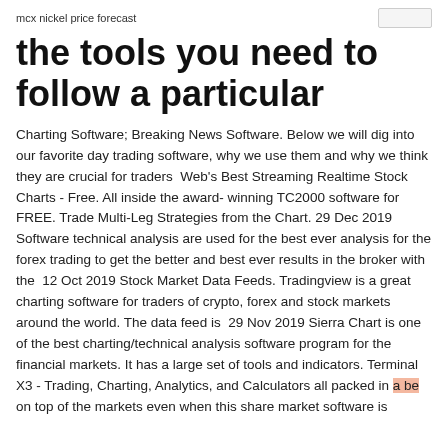mcx nickel price forecast
the tools you need to follow a particular
Charting Software; Breaking News Software. Below we will dig into our favorite day trading software, why we use them and why we think they are crucial for traders  Web's Best Streaming Realtime Stock Charts - Free. All inside the award- winning TC2000 software for FREE. Trade Multi-Leg Strategies from the Chart. 29 Dec 2019 Software technical analysis are used for the best ever analysis for the forex trading to get the better and best ever results in the broker with the  12 Oct 2019 Stock Market Data Feeds. Tradingview is a great charting software for traders of crypto, forex and stock markets around the world. The data feed is  29 Nov 2019 Sierra Chart is one of the best charting/technical analysis software program for the financial markets. It has a large set of tools and indicators. Terminal X3 - Trading, Charting, Analytics, and Calculators all packed in a be on top of the markets even when this share market software is